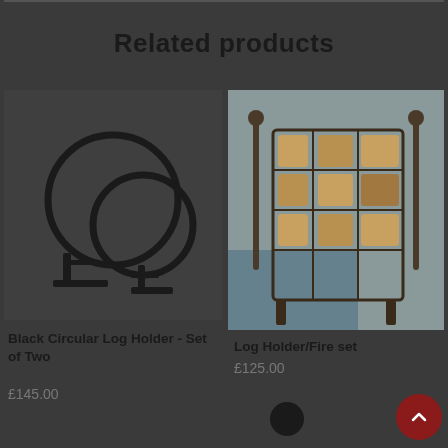Related products
[Figure (photo): Black circular log holder set - two circular ring-shaped metal log holders on stands]
Black Circular Log Holder - Set of Two
£145.00
[Figure (photo): Log Holder/Fire set - metal basket filled with wooden logs and fire tools]
Log Holder/Fire set
£125.00